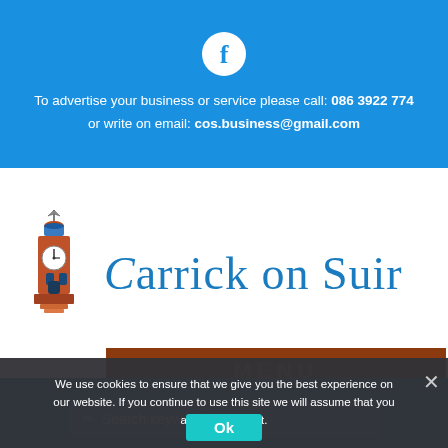[Figure (logo): Facebook logo circle (white F on blue background)]
To advertise your business or service please call: 086 3922 774 or write on email: cos.business@gmail.com
[Figure (logo): Carrick on Suir logo with illustrated clock tower building and blue serif text reading 'Carrick on Suir']
MENU
We use cookies to ensure that we give you the best experience on our website. If you continue to use this site we will assume that you are happy with it.
Ok
Search keyword